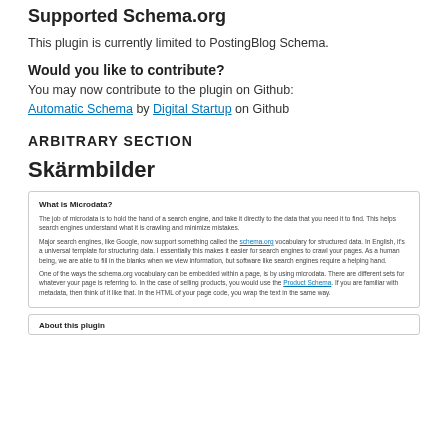Supported Schema.org
This plugin is currently limited to PostingBlog Schema.
Would you like to contribute?
You may now contribute to the plugin on Github: Automatic Schema by Digital Startup on Github
ARBITRARY SECTION
Skärmbilder
[Figure (screenshot): Screenshot showing a webpage panel titled 'What is Microdata?' with paragraphs explaining microdata and schema.org vocabulary, including a link to schema.org and Product Schema.]
[Figure (screenshot): Partial screenshot showing panel titled 'About this plugin']